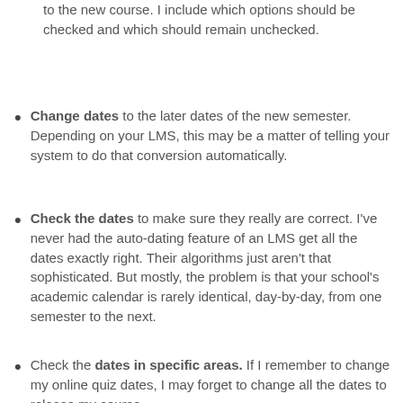to the new course. I include which options should be checked and which should remain unchecked.
Change dates to the later dates of the new semester. Depending on your LMS, this may be a matter of telling your system to do that conversion automatically.
Check the dates to make sure they really are correct. I've never had the auto-dating feature of an LMS get all the dates exactly right. Their algorithms just aren't that sophisticated. But mostly, the problem is that your school's academic calendar is rarely identical, day-by-day, from one semester to the next.
Check the dates in specific areas. If I remember to change my online quiz dates, I may forget to change all the dates to release my course...